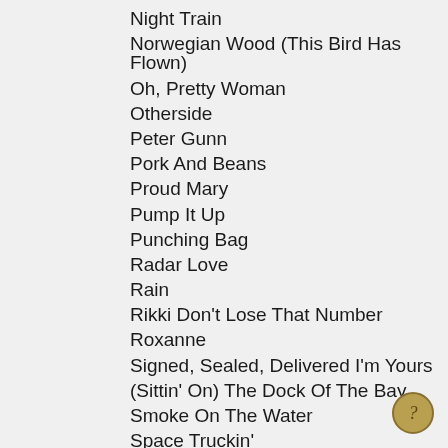Night Train
Norwegian Wood (This Bird Has Flown)
Oh, Pretty Woman
Otherside
Peter Gunn
Pork And Beans
Proud Mary
Pump It Up
Punching Bag
Radar Love
Rain
Rikki Don't Lose That Number
Roxanne
Signed, Sealed, Delivered I'm Yours
(Sittin' On) The Dock Of The Bay
Smoke On The Water
Space Truckin'
Stand By Me
Stray Cat Strut
Super Freak
Sweet Leaf